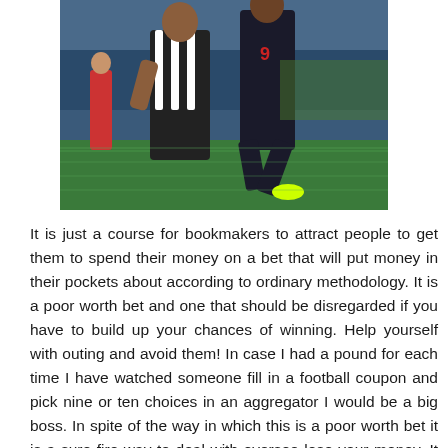[Figure (photo): Two football players running on a pitch during a match, one in black-and-white striped kit and one in dark kit with number 9, with a referee in red and crowd in background.]
It is just a course for bookmakers to attract people to get them to spend their money on a bet that will put money in their pockets about according to ordinary methodology. It is a poor worth bet and one that should be disregarded if you have to build up your chances of winning. Help yourself with outing and avoid them! In case I had a pound for each time I have watched someone fill in a football coupon and pick nine or ten choices in an aggregator I would be a big boss. In spite of the way in which this is a poor worth bet it is a sure fire way to deal with oversee lose your money. It may be drawing in for specific